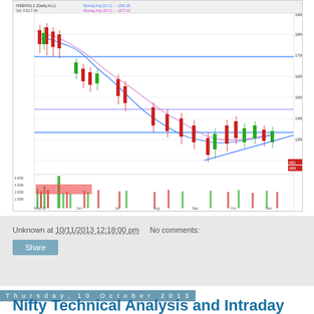[Figure (continuous-plot): Nifty daily candlestick chart with moving averages, MACD indicator, and Slow Stochastic indicator panels. Shows price action from May 2013 to December 2013 with horizontal support/resistance lines and an ascending trendline.]
Unknown at 10/11/2013 12:18:00 pm    No comments:
Share
Thursday, 10 October 2013
Nifty Technical Analysis and Intraday Calls for Oct 10